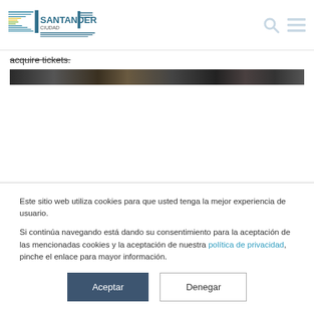[Figure (logo): Santander Ciudad logo with horizontal line motifs in teal, green, and yellow]
acquire tickets.
[Figure (photo): Dark grayscale image strip, appears to be a blurred banner image]
Este sitio web utiliza cookies para que usted tenga la mejor experiencia de usuario.

Si continúa navegando está dando su consentimiento para la aceptación de las mencionadas cookies y la aceptación de nuestra política de privacidad, pinche el enlace para mayor información.